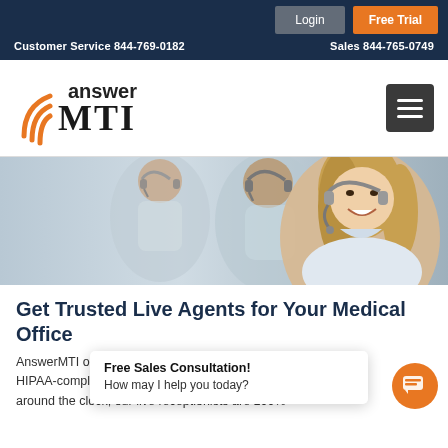Login | Free Trial | Customer Service 844-769-0182 | Sales 844-765-0749
[Figure (logo): AnswerMTI logo with orange signal wave graphic and bold MTI text]
[Figure (photo): Call center agents wearing headsets, smiling, in a professional office setting]
Get Trusted Live Agents for Your Medical Office
AnswerMTI operates around the clock to provide HIPAA-compliant answering services. Available around the clock, our live receptionists are 100%
Free Sales Consultation! How may I help you today?